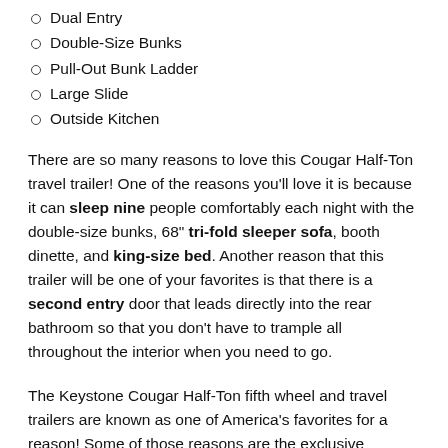Dual Entry
Double-Size Bunks
Pull-Out Bunk Ladder
Large Slide
Outside Kitchen
There are so many reasons to love this Cougar Half-Ton travel trailer! One of the reasons you'll love it is because it can sleep nine people comfortably each night with the double-size bunks, 68" tri-fold sleeper sofa, booth dinette, and king-size bed. Another reason that this trailer will be one of your favorites is that there is a second entry door that leads directly into the rear bathroom so that you don't have to trample all throughout the interior when you need to go.
The Keystone Cougar Half-Ton fifth wheel and travel trailers are known as one of America's favorites for a reason! Some of those reasons are the exclusive features that come from Keystone, like the preparations for 4G and Wi-Fi, the in-floor heating ducts, and the Hyper Deck flooring. The Cougar Half-Ton has a Climate Guard protection package to keep you safe during inclement weather and you'll also find an iN-Command...